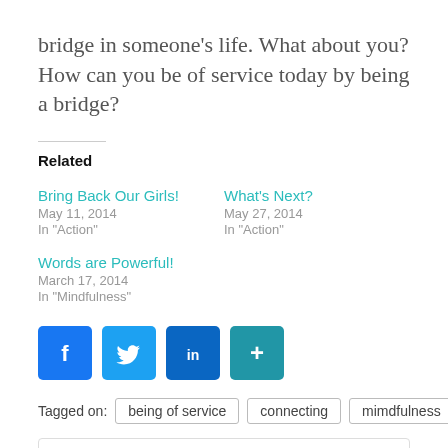bridge in someone's life. What about you? How can you be of service today by being a bridge?
Related
Bring Back Our Girls!
May 11, 2014
In "Action"

What's Next?
May 27, 2014
In "Action"

Words are Powerful!
March 17, 2014
In "Mindfulness"
[Figure (infographic): Social sharing buttons: Facebook (blue), Twitter (light blue), LinkedIn (dark blue), Plus/Share (teal)]
Tagged on: being of service   connecting   mimdfulness
• Nancy Jemben  📅  April 24, 2014